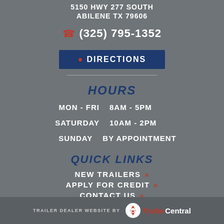5150 HWY 277 SOUTH
ABILENE TX 79606
(325) 795-1352
DIRECTIONS
HOURS
MON - FRI   8AM - 5PM
SATURDAY   10AM - 2PM
SUNDAY   BY APPOINTMENT
QUICK LINKS
NEW TRAILERS »
APPLY FOR CREDIT »
CONTACT US »
TRAILER DEALER WEBSITE BY TrailerCentral